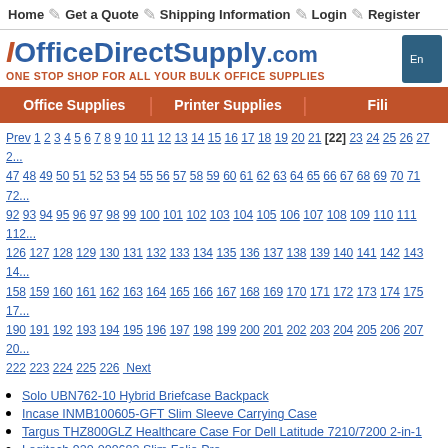Home | Get a Quote | Shipping Information | Login | Register
IOfficeDirectSupply.com ONE STOP SHOP FOR ALL YOUR BULK OFFICE SUPPLIES
Office Supplies | Printer Supplies | Fili...
Prev 1 2 3 4 5 6 7 8 9 10 11 12 13 14 15 16 17 18 19 20 21 [22] 23 24 25 26 27 2... 47 48 49 50 51 52 53 54 55 56 57 58 59 60 61 62 63 64 65 66 67 68 69 70 71 72... 92 93 94 95 96 97 98 99 100 101 102 103 104 105 106 107 108 109 110 111 112... 126 127 128 129 130 131 132 133 134 135 136 137 138 139 140 141 142 143 14... 158 159 160 161 162 163 164 165 166 167 168 169 170 171 172 173 174 175 17... 190 191 192 193 194 195 196 197 198 199 200 201 202 203 204 205 206 207 20... 222 223 224 225 226 Next
Solo UBN762-10 Hybrid Briefcase Backpack
Incase INMB100605-GFT Slim Sleeve Carrying Case
Targus THZ800GLZ Healthcare Case For Dell Latitude 7210/7200 2-in-1
Logitech 920-009682 Slim Folio Pro
Logitech 920-009703 Slim Folio Pro
Twelve South 12-1827 BookBook vol. 2 for MacBook Air/Pro
Kensington K97321WW BlackBelt Tablet Case
Ziploc® 316489 Gallon Storage Slider Bags
SKILCRAFT 6627928 Linear Low Density Can Liners
Lenovo 4X40Y95215 ThinkPad 15.6-inch Essential Messenger
MAXCases MC-EB4P-11-BLK Explorer 4 Work-In Case w/Pocket 11" (Black
Ziploc® 315885 Sandwich Bags
Solo UBN914-10 Re:treat Wheeled Carry-on Tote
Solo UBN915-10 Re:start Underseat Rolling Case